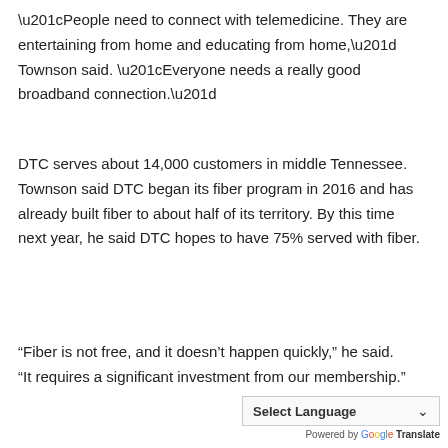“People need to connect with telemedicine. They are entertaining from home and educating from home,” Townson said. “Everyone needs a really good broadband connection.”
DTC serves about 14,000 customers in middle Tennessee. Townson said DTC began its fiber program in 2016 and has already built fiber to about half of its territory. By this time next year, he said DTC hopes to have 75% served with fiber.
“Fiber is not free, and it doesn’t happen quickly,” he said. “It requires a significant investment from our membership.”